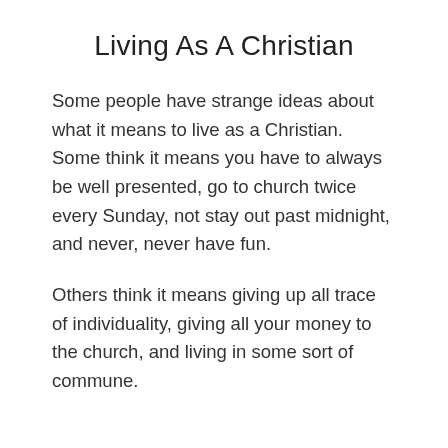Living As A Christian
Some people have strange ideas about what it means to live as a Christian. Some think it means you have to always be well presented, go to church twice every Sunday, not stay out past midnight, and never, never have fun.
Others think it means giving up all trace of individuality, giving all your money to the church, and living in some sort of commune.